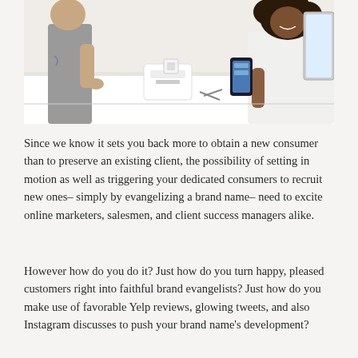[Figure (photo): Photo of two people at a retail counter. A person in a gray sleeveless shirt on the left is handing something, and a person with curly hair on the right is holding a smartphone, smiling, in a bright white interior.]
Since we know it sets you back more to obtain a new consumer than to preserve an existing client, the possibility of setting in motion as well as triggering your dedicated consumers to recruit new ones– simply by evangelizing a brand name– need to excite online marketers, salesmen, and client success managers alike.
However how do you do it? Just how do you turn happy, pleased customers right into faithful brand evangelists? Just how do you make use of favorable Yelp reviews, glowing tweets, and also Instagram discusses to push your brand name's development?